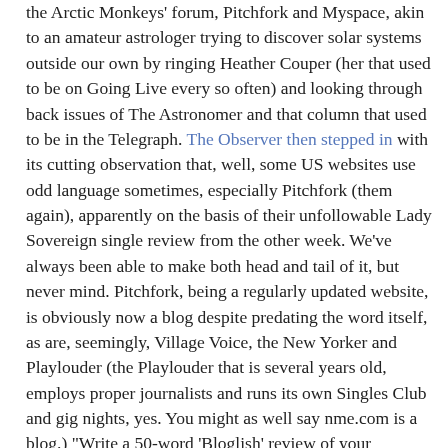the Arctic Monkeys' forum, Pitchfork and Myspace, akin to an amateur astrologer trying to discover solar systems outside our own by ringing Heather Couper (her that used to be on Going Live every so often) and looking through back issues of The Astronomer and that column that used to be in the Telegraph. The Observer then stepped in with its cutting observation that, well, some US websites use odd language sometimes, especially Pitchfork (them again), apparently on the basis of their unfollowable Lady Sovereign single review from the other week. We've always been able to make both head and tail of it, but never mind. Pitchfork, being a regularly updated website, is obviously now a blog despite predating the word itself, as are, seemingly, Village Voice, the New Yorker and Playlouder (the Playlouder that is several years old, employs proper journalists and runs its own Singles Club and gig nights, yes. You might as well say nme.com is a blog.) "Write a 50-word 'Bloglish' review of your favourite recent album or track; the funniest will win our next four Albums of the Week" it states. On the other hand, don't, it'll be shit. The BBC's go is better, even if it does suggest early on that you should steer clear of any site writing about new music. So much for development, and indeed the guiding principle behind the very root of this sudden interest in Internet music writing. We wonder how many casual browsers